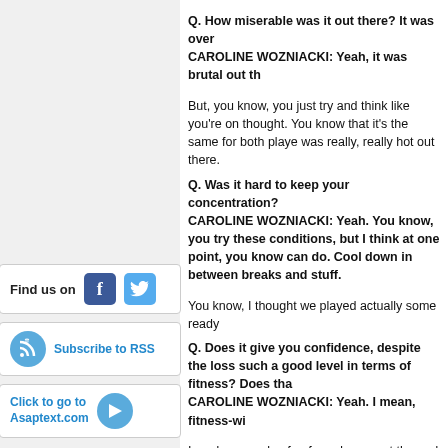Q. How miserable was it out there? It was over
CAROLINE WOZNIACKI: Yeah, it was brutal out th
But, you know, you just try and think like you're on thought. You know that it's the same for both playe was really, really hot out there.
Q. Was it hard to keep your concentration?
CAROLINE WOZNIACKI: Yeah. You know, you try these conditions, but I think at one point, you know can do. Cool down in between breaks and stuff.
You know, I thought we played actually some ready
Q. Does it give you confidence, despite the loss such a good level in terms of fitness? Does tha
CAROLINE WOZNIACKI: Yeah. I mean, fitness-wi
I made a couple of unforced errors at the end there you know, when you've been fighting out there in s you better win it. Otherwise it really sucks. (Laught
Q. At the end there, I mean, your ankle and even
CAROLINE WOZNIACKI: I'm okay. I'm just going t
Yeah, I felt the Achilles at one point, but that helpe my foot, so that was digging in and that was giving
I'm not worried. I have a few days till Melbourne, so
Q. What kind of mental highs and lows do you g hot?
CAROLINE WOZNIACKI: Yeah. You just try and th and after those two games you can sit down again
Q. What's the recovery like after a match like th
CAROLINE WOZNIACKI: For sure. You need to co
[Figure (infographic): Find us on Facebook and Twitter social media icons]
[Figure (infographic): Subscribe to RSS button with RSS icon]
[Figure (infographic): Click to go to Asaptext.com button with arrow icon]